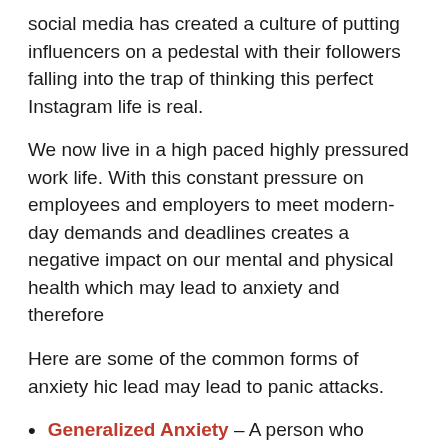social media has created a culture of putting influencers on a pedestal with their followers falling into the trap of thinking this perfect Instagram life is real.
We now live in a high paced highly pressured work life. With this constant pressure on employees and employers to meet modern-day demands and deadlines creates a negative impact on our mental and physical health which may lead to anxiety and therefore
Here are some of the common forms of anxiety hic lead may lead to panic attacks.
Generalized Anxiety – A person who displays excessive anxiety or worry most days for at least six months.